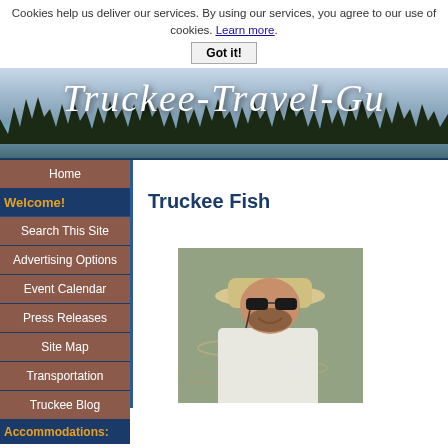Cookies help us deliver our services. By using our services, you agree to our use of cookies. Learn more.
Got it!
[Figure (photo): Truckee Travel Guide website banner with cursive script title over a mountain lake scene with snow-dusted pine trees]
Home
Welcome!
Search This Site
Advertising Options
Event Calendar
Press Releases
Site Map
Transportation
Truckee Blog
Accommodations:
Truckee Fish
[Figure (photo): Man wearing a wide-brimmed hat and sunglasses, smiling on a boat on water, fishing photo]